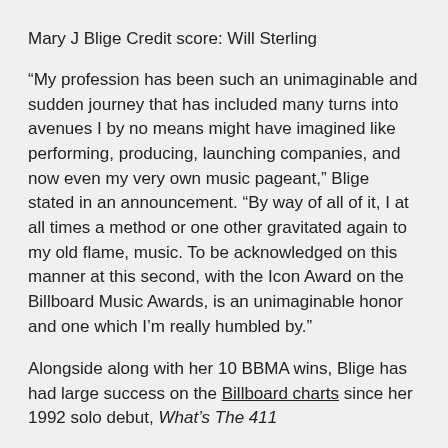Mary J Blige Credit score: Will Sterling
“My profession has been such an unimaginable and sudden journey that has included many turns into avenues I by no means might have imagined like performing, producing, launching companies, and now even my very own music pageant,” Blige stated in an announcement. “By way of all of it, I at all times a method or one other gravitated again to my old flame, music. To be acknowledged on this manner at this second, with the Icon Award on the Billboard Music Awards, is an unimaginable honor and one which I’m really humbled by.”
Alongside along with her 10 BBMA wins, Blige has had large success on the Billboard charts since her 1992 solo debut, What’s The 411